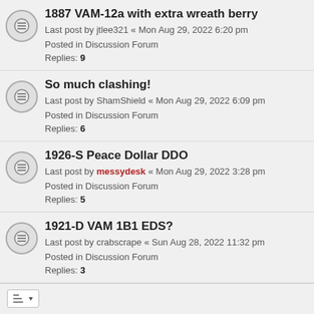1887 VAM-12a with extra wreath berry
Last post by jtlee321 « Mon Aug 29, 2022 6:20 pm
Posted in Discussion Forum
Replies: 9
So much clashing!
Last post by ShamShield « Mon Aug 29, 2022 6:09 pm
Posted in Discussion Forum
Replies: 6
1926-S Peace Dollar DDO
Last post by messydesk « Mon Aug 29, 2022 3:28 pm
Posted in Discussion Forum
Replies: 5
1921-D VAM 1B1 EDS?
Last post by crabscrape « Sun Aug 28, 2022 11:32 pm
Posted in Discussion Forum
Replies: 3
Search found 36 matches  1  2  >